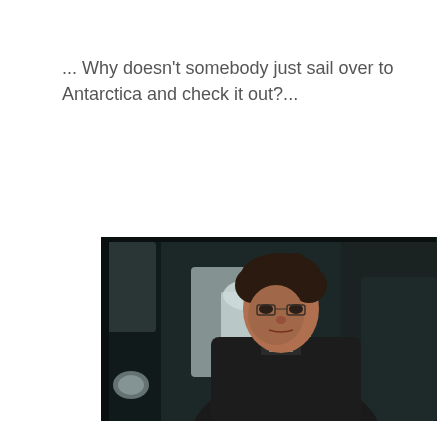... Why doesn't somebody just sail over to Antarctica and check it out?...
[Figure (photo): A man with curly dark hair sitting inside a vehicle, looking serious, wearing a dark coat. A blurred white structure is visible through the window in the background.]